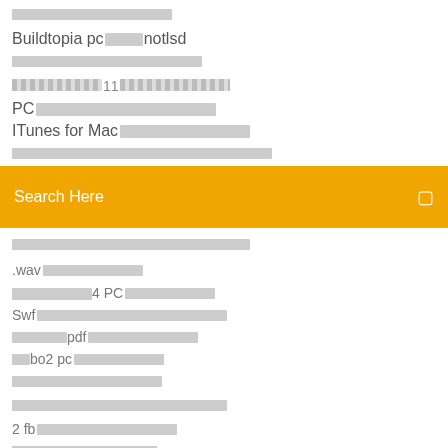□□□□□□□□□□□□□□□□□
Buildtopia pc□□□□□notlsd
□□□□□□□□□□□□□□□□□□□
□□□□□□□□□□11□□□□□□□□□□
PC□□□□□□□□□□□□□□□□□□
ITunes for Mac□□□□□□□□□□□□□□
□□□□□□□□□□□□□□□□□□□□□□□□□□□□□□□□□
[Figure (other): Orange search bar with text 'Search Here' and search icon]
□□□□□□□□□□□□□□□□□□□□□□□□□□□□□□
.wav□□□□□□□□□□□□
□□□□□□□□□□□□4 PC□□□□□□□□□
Swf□□□□□□□□□□□□□□□□□□□□□
□□□□□□□pdf□□□□□□□□□□□
□□bo2 pc□□□□□□□□□
□□□□□□□□□□□□□□□
□□□□□□□□□□□□□□□□□□□□□□
2 fb□□□□□□□□□□□□□□□□
□□□□□□□□□□□□□□□